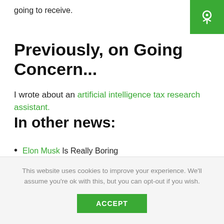going to receive.
[Figure (logo): Going Concern green logo with white icon on green background, top right corner]
Previously, on Going Concern...
I wrote about an artificial intelligence tax research assistant.
In other news:
Elon Musk Is Really Boring
Bill and Melinda Gates wrote Warren Buffett a nice letter.
EY is laying off auditors in Scotland.
This website uses cookies to improve your experience. We'll assume you're ok with this, but you can opt-out if you wish.
ACCEPT